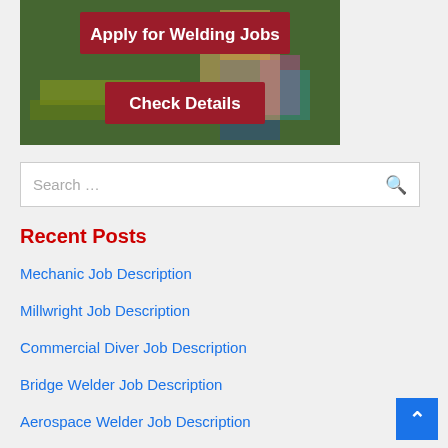[Figure (photo): Banner image with a welder working in the background, overlaid with two dark red rectangles containing white bold text: 'Apply for Welding Jobs' and 'Check Details']
Search …
Recent Posts
Mechanic Job Description
Millwright Job Description
Commercial Diver Job Description
Bridge Welder Job Description
Aerospace Welder Job Description
Robotic Welding Technician Job Description